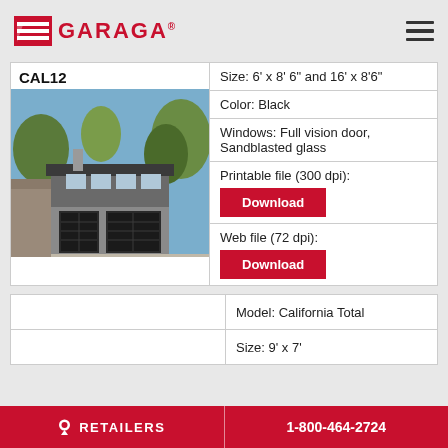[Figure (logo): Garaga logo with red icon and bold red text]
| CAL12 / [house photo] | Size: 6' x 8' 6" and 16' x 8'6" |
|  | Color: Black |
|  | Windows: Full vision door, Sandblasted glass |
|  | Printable file (300 dpi): Download |
|  | Web file (72 dpi): Download |
|  | Model: California Total |
|  | Size: 9' x 7' |
RETAILERS | 1-800-464-2724